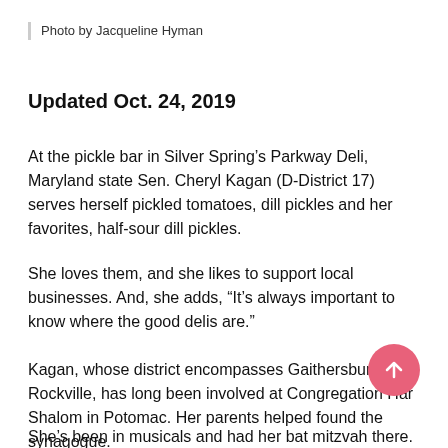Photo by Jacqueline Hyman
Updated Oct. 24, 2019
At the pickle bar in Silver Spring’s Parkway Deli, Maryland state Sen. Cheryl Kagan (D-District 17) serves herself pickled tomatoes, dill pickles and her favorites, half-sour dill pickles.
She loves them, and she likes to support local businesses. And, she adds, “It’s always important to know where the good delis are.”
Kagan, whose district encompasses Gaithersburg and Rockville, has long been involved at Congregation Har Shalom in Potomac. Her parents helped found the synagogue.
She’s been in musicals and had her bat mitzvah there.